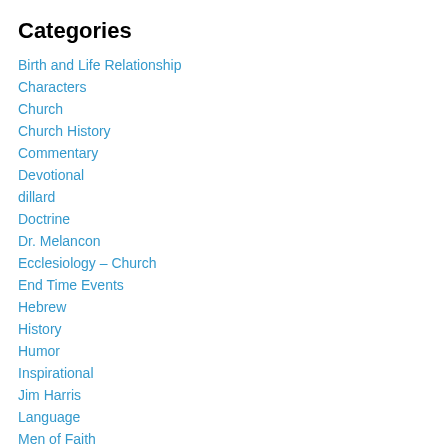Categories
Birth and Life Relationship
Characters
Church
Church History
Commentary
Devotional
dillard
Doctrine
Dr. Melancon
Ecclesiology – Church
End Time Events
Hebrew
History
Humor
Inspirational
Jim Harris
Language
Men of Faith